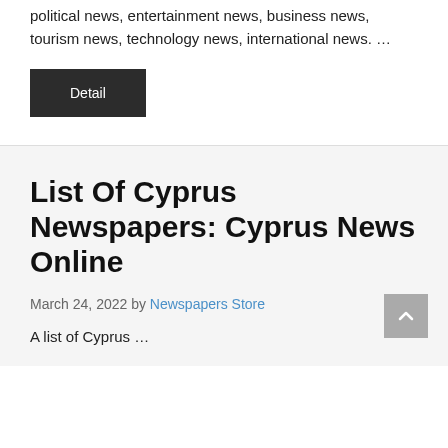political news, entertainment news, business news, tourism news, technology news, international news. …
Detail
List Of Cyprus Newspapers: Cyprus News Online
March 24, 2022 by Newspapers Store
A list of Cyprus …